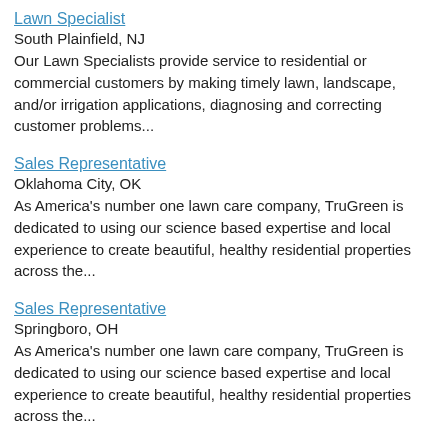Lawn Specialist
South Plainfield, NJ
Our Lawn Specialists provide service to residential or commercial customers by making timely lawn, landscape, and/or irrigation applications, diagnosing and correcting customer problems...
Sales Representative
Oklahoma City, OK
As America's number one lawn care company, TruGreen is dedicated to using our science based expertise and local experience to create beautiful, healthy residential properties across the...
Sales Representative
Springboro, OH
As America's number one lawn care company, TruGreen is dedicated to using our science based expertise and local experience to create beautiful, healthy residential properties across the...